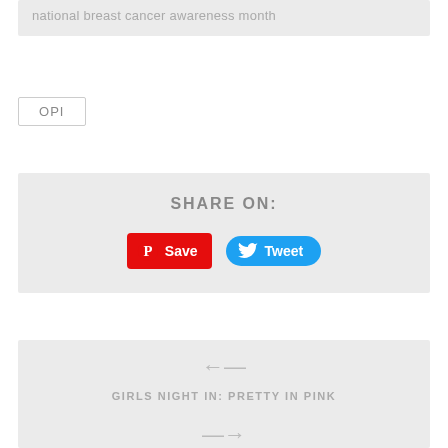national breast cancer awareness month
OPI
SHARE ON:
[Figure (infographic): Pinterest Save button (red) and Tweet button (blue) for social sharing]
← GIRLS NIGHT IN: PRETTY IN PINK
→ CAMILLA AND MARC'S 'RADICAL' CRUISE COLLECTION